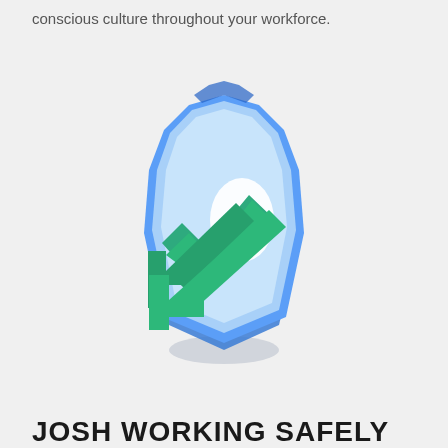conscious culture throughout your workforce.
[Figure (illustration): 3D blue shield icon with a green checkmark overlapping the lower-left portion of the shield. The shield has a white oval highlight in the center and casts a subtle shadow beneath it.]
JOSH WORKING SAFELY